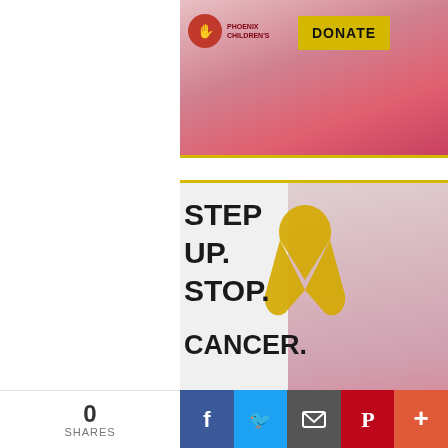[Figure (photo): Phoenix Children's Hospital top advertisement banner with DONATE button and child photo background]
[Figure (infographic): Phoenix Children's Hospital 'Step Up. Stop. Cancer.' campaign ad with yellow ribbon, child photo, and DONATE button]
[Figure (photo): Independent Newsmedia banner with blue starburst background and circular badge]
0
SHARES
[Figure (infographic): Social sharing bar with Facebook, Twitter, Email, Pinterest, and plus buttons]